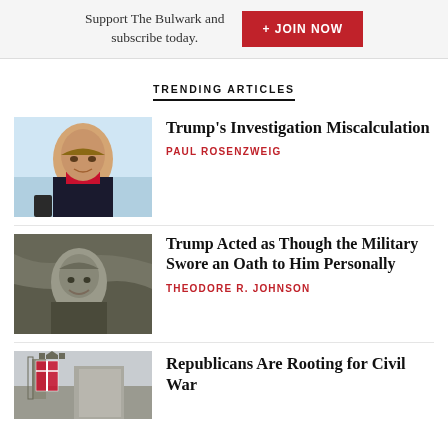Support The Bulwark and subscribe today.
+ JOIN NOW
TRENDING ARTICLES
[Figure (photo): Photo of Donald Trump in dark suit and red tie, speaking with fist raised, against a light sky background]
Trump's Investigation Miscalculation
PAUL ROSENZWEIG
[Figure (photo): Black and white photo composite of Trump overlaid on a map background, mouth open, looking downward]
Trump Acted as Though the Military Swore an Oath to Him Personally
THEODORE R. JOHNSON
[Figure (photo): Photo showing a Confederate flag and building in background]
Republicans Are Rooting for Civil War